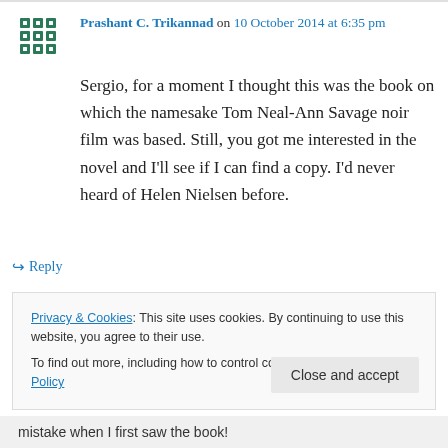Prashant C. Trikannad on 10 October 2014 at 6:35 pm
Sergio, for a moment I thought this was the book on which the namesake Tom Neal-Ann Savage noir film was based. Still, you got me interested in the novel and I'll see if I can find a copy. I'd never heard of Helen Nielsen before.
↵ Reply
Privacy & Cookies: This site uses cookies. By continuing to use this website, you agree to their use. To find out more, including how to control cookies, see here: Cookie Policy
Close and accept
mistake when I first saw the book!